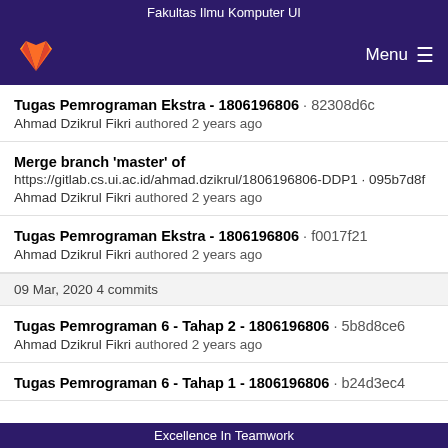Fakultas Ilmu Komputer UI
[Figure (logo): GitLab fox logo (orange and red) on dark purple navigation bar with Menu and hamburger icon on the right]
Tugas Pemrograman Ekstra - 1806196806 · 82308d6c
Ahmad Dzikrul Fikri authored 2 years ago
Merge branch 'master' of https://gitlab.cs.ui.ac.id/ahmad.dzikrul/1806196806-DDP1 · 095b7d8f
Ahmad Dzikrul Fikri authored 2 years ago
Tugas Pemrograman Ekstra - 1806196806 · f0017f21
Ahmad Dzikrul Fikri authored 2 years ago
09 Mar, 2020 4 commits
Tugas Pemrograman 6 - Tahap 2 - 1806196806 · 5b8d8ce6
Ahmad Dzikrul Fikri authored 2 years ago
Tugas Pemrograman 6 - Tahap 1 - 1806196806 · b24d3ec4
Excellence In Teamwork